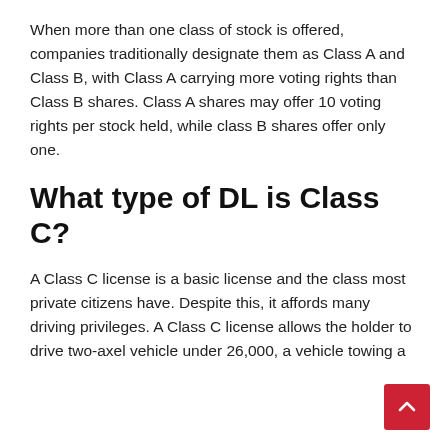When more than one class of stock is offered, companies traditionally designate them as Class A and Class B, with Class A carrying more voting rights than Class B shares. Class A shares may offer 10 voting rights per stock held, while class B shares offer only one.
What type of DL is Class C?
A Class C license is a basic license and the class most private citizens have. Despite this, it affords many driving privileges. A Class C license allows the holder to drive two-axel vehicle under 26,000, a vehicle towing a